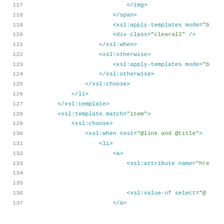Code listing lines 117-137 showing XSL template markup